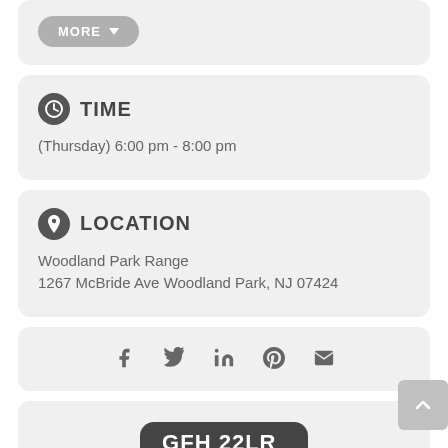TIME
(Thursday) 6:00 pm - 8:00 pm
LOCATION
Woodland Park Range
1267 McBride Ave Woodland Park, NJ 07424
[Figure (infographic): Social sharing icons row: Facebook, Twitter, LinkedIn, Pinterest, Email]
[Figure (logo): GFH 22LR logo badge in dark rounded rectangle]